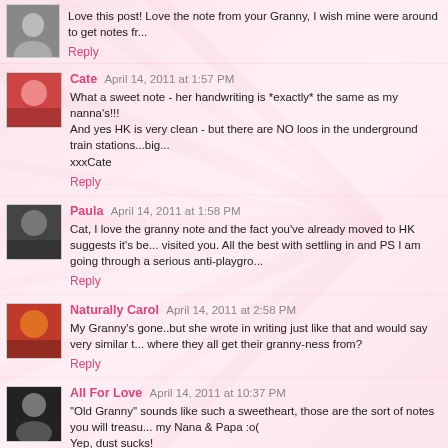Love this post! Love the note from your Granny, I wish mine were around to get notes fr...
Reply
Cate  April 14, 2011 at 1:57 PM
What a sweet note - her handwriting is *exactly* the same as my nanna's!!!
And yes HK is very clean - but there are NO loos in the underground train stations...big...
xxxCate
Reply
Paula  April 14, 2011 at 1:58 PM
Cat, I love the granny note and the fact you've already moved to HK suggests it's be... visited you. All the best with settling in and PS I am going through a serious anti-playgro...
Reply
Naturally Carol  April 14, 2011 at 2:58 PM
My Granny's gone..but she wrote in writing just like that and would say very similar t... where they all get their granny-ness from?
Reply
All For Love  April 14, 2011 at 10:37 PM
"Old Granny" sounds like such a sweetheart, those are the sort of notes you will treasu... my Nana & Papa :o(
Yep, dust sucks!
This week I've learnt that even when you think you're on top of the washing... there's... that needs to be put through. Re.lentless.
Reply